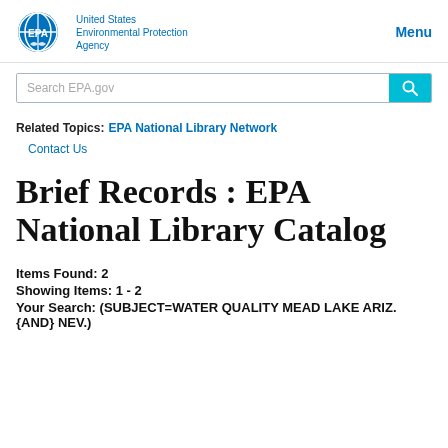United States Environmental Protection Agency | Menu
Search EPA.gov
Related Topics: EPA National Library Network
Contact Us
Brief Records : EPA National Library Catalog
Items Found: 2
Showing Items: 1 - 2
Your Search: (SUBJECT=WATER QUALITY MEAD LAKE ARIZ. {AND} NEV.)